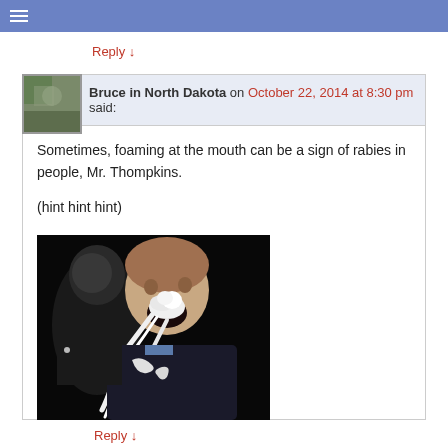☰
Reply ↓
Bruce in North Dakota on October 22, 2014 at 8:30 pm said:
Sometimes, foaming at the mouth can be a sign of rabies in people, Mr. Thompkins.

(hint hint hint)
[Figure (photo): Person with white foam/whipped cream spilling out of their mouth, dark background, another person visible behind them.]
Reply ↓